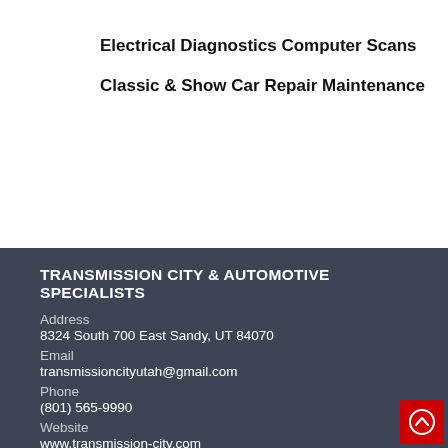Electrical Diagnostics Computer Scans
Classic & Show Car Repair Maintenance
TRANSMISSION CITY & AUTOMOTIVE SPECIALISTS
Address
8324 South 700 East Sandy, UT 84070
Email
transmissioncityutah@gmail.com
Phone
(801) 565-9990
Website
www.transmission-city.com